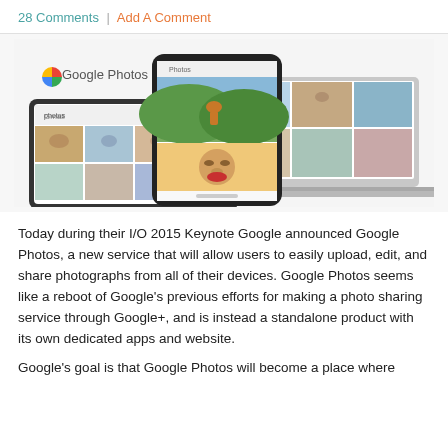28 Comments | Add A Comment
[Figure (photo): Google Photos promotional image showing the app interface on a tablet, smartphone, and laptop with photos of people and a dog]
Today during their I/O 2015 Keynote Google announced Google Photos, a new service that will allow users to easily upload, edit, and share photographs from all of their devices. Google Photos seems like a reboot of Google's previous efforts for making a photo sharing service through Google+, and is instead a standalone product with its own dedicated apps and website.
Google's goal is that Google Photos will become a place where